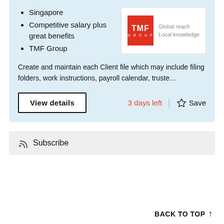Singapore
Competitive salary plus great benefits
TMF Group
[Figure (logo): TMF Group logo — red square with TMF GROUP text, tagline: Global reach Local knowledge]
Create and maintain each Client file which may include filing folders, work instructions, payroll calendar, truste…
View details
3 days left
Save
Subscribe
BACK TO TOP ↑